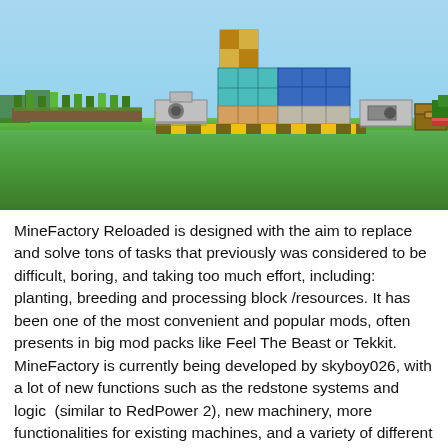[Figure (screenshot): Minecraft screenshot showing MineFactory Reloaded mod setup: crops on the left, machines in the center, a chest on the right, green grass ground, blue sky background.]
MineFactory Reloaded is designed with the aim to replace and solve tons of tasks that previously was considered to be difficult, boring, and taking too much effort, including: planting, breeding and processing block /resources. It has been one of the most convenient and popular mods, often presents in big mod packs like Feel The Beast or Tekkit. MineFactory is currently being developed by skyboy026, with a lot of new functions such as the redstone systems and logic  (similar to RedPower 2), new machinery, more functionalities for existing machines, and a variety of different decorative blocks. This is a must-install mod if you are a hardcore fan of Minecraft, MineFactory Reloaded requires Forge Mod Loader, Minecraft 1.7.10 and CoFH Core Mod...